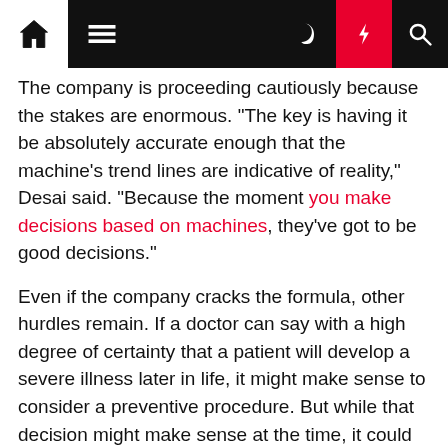[Navigation bar with home, menu, dark mode, lightning bolt, and search icons]
The company is proceeding cautiously because the stakes are enormous. "The key is having it be absolutely accurate enough that the machine's trend lines are indicative of reality," Desai said. "Because the moment you make decisions based on machines, they've got to be good decisions."
Even if the company cracks the formula, other hurdles remain. If a doctor can say with a high degree of certainty that a patient will develop a severe illness later in life, it might make sense to consider a preventive procedure. But while that decision might make sense at the time, it could lead to regret later if a treatment or cure for that same illness is developed many years later.
"Those are the kinds of things at an ethical level and at a practical level and at a cost level that become